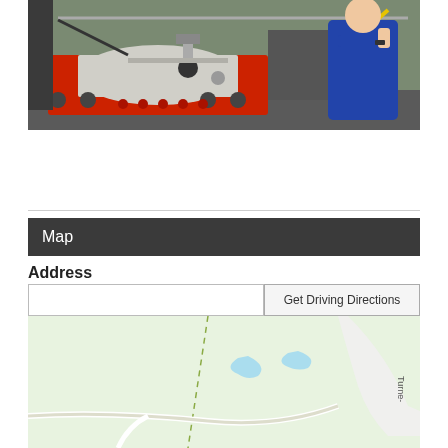[Figure (photo): Photo of industrial machinery (steam roller or road roller) with red body, white cylindrical drum, and metallic components. A person in blue work clothes is operating it with a long yellow-handled tool.]
Map
Address
Get Driving Directions
[Figure (map): Google Maps embed showing a green area map with roads, a dashed path, blue water features, and a road label 'Turne-' on the right edge. Map/Satellite toggle buttons and a fullscreen button are visible.]